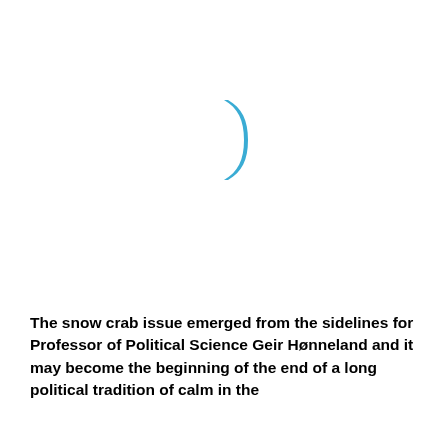[Figure (illustration): A small blue curved/bracket shape, resembling a parenthesis or partial book spine, centered slightly right of middle on a white background.]
The snow crab issue emerged from the sidelines for Professor of Political Science Geir Hønneland and it may become the beginning of the end of a long political tradition of calm in the